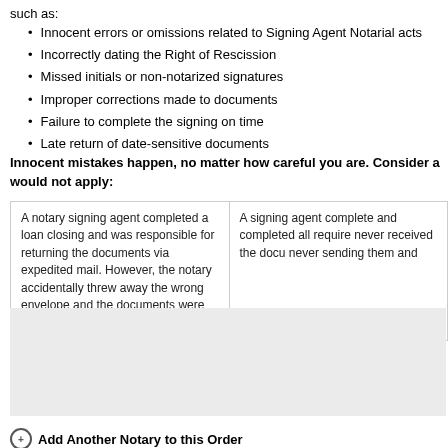such as:
Innocent errors or omissions related to Signing Agent Notarial acts
Incorrectly dating the Right of Rescission
Missed initials or non-notarized signatures
Improper corrections made to documents
Failure to complete the signing on time
Late return of date-sensitive documents
Innocent mistakes happen, no matter how careful you are. Consider a case where coverage would not apply:
A notary signing agent completed a loan closing and was responsible for returning the documents via expedited mail. However, the notary accidentally threw away the wrong envelope and the documents were never sent.
A signing agent complete and completed all require never received the docu never sending them and
[Figure (other): Gray placeholder box]
Add Another Notary to this Order